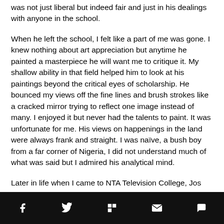was not just liberal but indeed fair and just in his dealings with anyone in the school.
When he left the school, I felt like a part of me was gone. I knew nothing about art appreciation but anytime he painted a masterpiece he will want me to critique it. My shallow ability in that field helped him to look at his paintings beyond the critical eyes of scholarship. He bounced my views off the fine lines and brush strokes like a cracked mirror trying to reflect one image instead of many. I enjoyed it but never had the talents to paint. It was unfortunate for me. His views on happenings in the land were always frank and straight. I was naïve, a bush boy from a far corner of Nigeria, I did not understand much of what was said but I admired his analytical mind.
Later in life when I came to NTA Television College, Jos
[social share icons: Facebook, Twitter, Flipboard, Email, Comment]